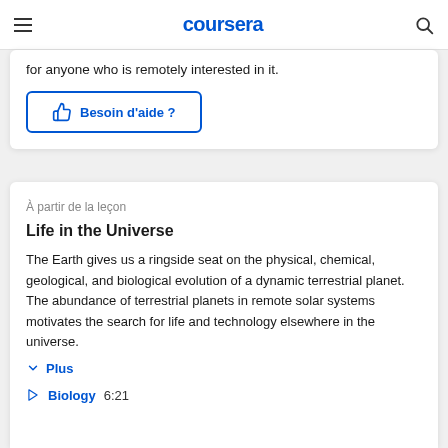coursera
for anyone who is remotely interested in it.
👍 Besoin d'aide ?
À partir de la leçon
Life in the Universe
The Earth gives us a ringside seat on the physical, chemical, geological, and biological evolution of a dynamic terrestrial planet. The abundance of terrestrial planets in remote solar systems motivates the search for life and technology elsewhere in the universe.
Plus
Biology  6:21